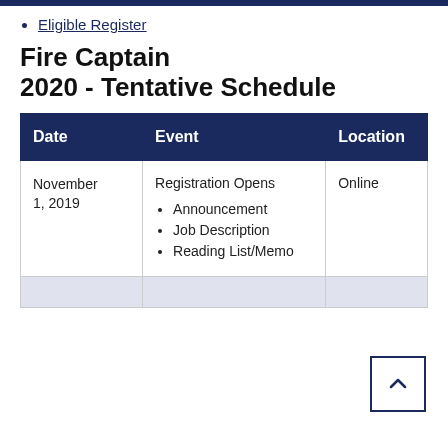Eligible Register
Fire Captain
2020 - Tentative Schedule
| Date | Event | Location |
| --- | --- | --- |
| November 1, 2019 | Registration Opens
• Announcement
• Job Description
• Reading List/Memo | Online |
|  |  |  |